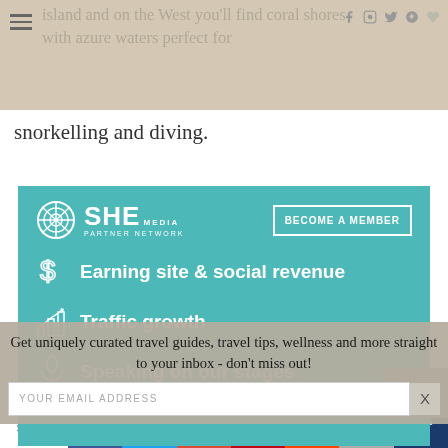island and on the West you'll find coral shores with azure waters perfect for
snorkelling and diving.
[Figure (infographic): SHE Media Partner Network advertisement. Shows logo with 'BECOME A MEMBER' button, and three bullet points with icons: 'Earning site & social revenue', 'Traffic growth', 'Speaking on our stages'. Teal/turquoise background with white text and icons.]
Get uniquely curated travel guides, travel tips, wellness and more straight to your inbox - don't miss out!
YOUR EMAIL ADDRESS
346 Shares  [Facebook] [Twitter] [Google+] [Pinterest] [Reddit] [Email] [Crown]